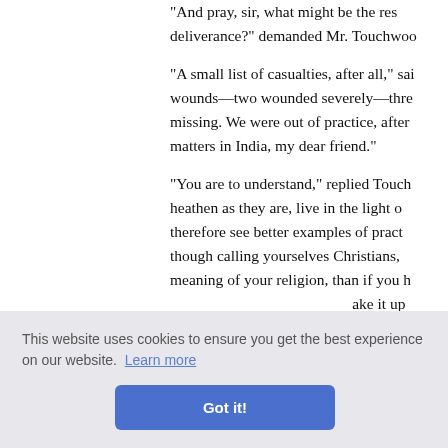"And pray, sir, what might be the result of your deliverance?" demanded Mr. Touchwood.
"A small list of casualties, after all," said—wounds—two wounded severely—three missing. We were out of practice, after matters in India, my dear friend."
"You are to understand," replied Touchwood, heathen as they are, live in the light of therefore see better examples of practice though calling yourselves Christians, meaning of your religion, than if you had ake it up
;" said th- culent am- on my o- ther, for ord—Co-
heathen bodies and natives, that were